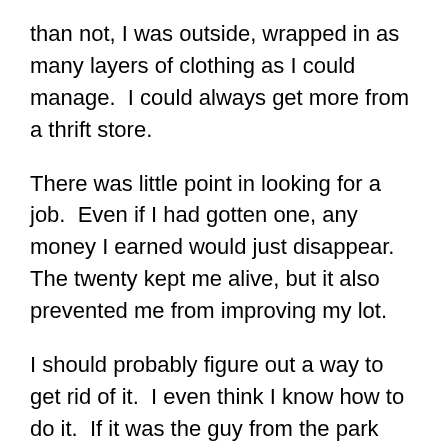than not, I was outside, wrapped in as many layers of clothing as I could manage.  I could always get more from a thrift store.
There was little point in looking for a job.  Even if I had gotten one, any money I earned would just disappear.  The twenty kept me alive, but it also prevented me from improving my lot.
I should probably figure out a way to get rid of it.  I even think I know how to do it.  If it was the guy from the park who gave it to me, then that's what I need to do.  Give it to someone without expecting anything back.  But if I do that, I really could starve to death.  Right now, at least I've got something.  It doesn't seem worth it to give up that security for a future that might be better, but also might not be.